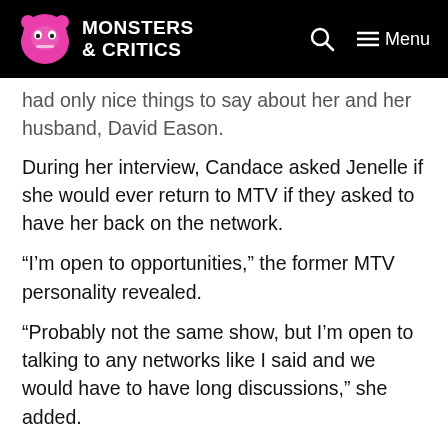Monsters & Critics — Menu
had only nice things to say about her and her husband, David Eason.
During her interview, Candace asked Jenelle if she would ever return to MTV if they asked to have her back on the network.
“I’m open to opportunities,” the former MTV personality revealed.
“Probably not the same show, but I’m open to talking to any networks like I said and we would have to have long discussions,” she added.